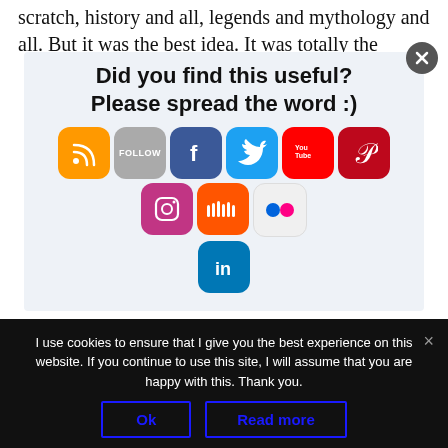scratch, history and all, legends and mythology and all. But it was the best idea. It was totally the
[Figure (infographic): Social sharing prompt box with text 'Did you find this useful? Please spread the word :)' and social media icons: RSS, Follow, Facebook, Twitter, YouTube, Pinterest, Instagram, SoundCloud, Flickr, LinkedIn]
wasn't like I went, "Ooh, Dan Brown's sold lots of
I use cookies to ensure that I give you the best experience on this website. If you continue to use this site, I will assume that you are happy with this. Thank you.
Ok
Read more